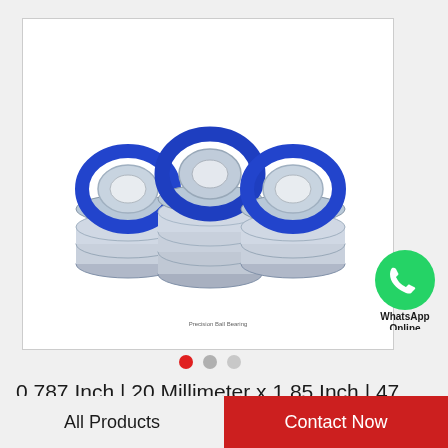[Figure (photo): Group of ball bearings with blue rubber seals arranged in three stacks, silver metallic finish, product photo on white background]
[Figure (logo): WhatsApp green circle logo with phone handset icon, with text 'WhatsApp Online' below]
0.787 Inch | 20 Millimeter x 1.85 Inch | 47 Millimeter x 0.551 Inch | 14 Millimeter KOYO…
All Products
Contact Now